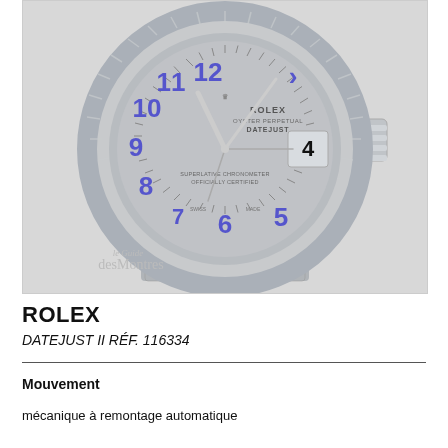[Figure (photo): Rolex Datejust II watch with steel bracelet, fluted bezel, and grey dial with blue Arabic numerals]
ROLEX
DATEJUST II RÉF. 116334
Mouvement
mécanique à remontage automatique